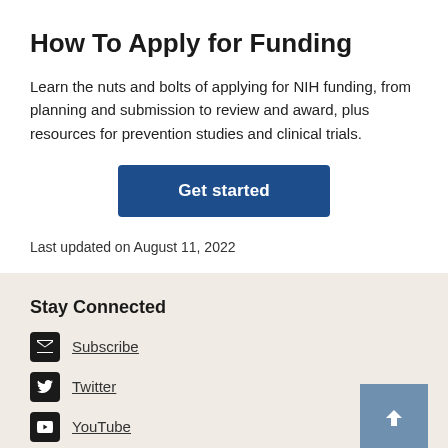How To Apply for Funding
Learn the nuts and bolts of applying for NIH funding, from planning and submission to review and award, plus resources for prevention studies and clinical trials.
Get started
Last updated on August 11, 2022
Stay Connected
Subscribe
Twitter
YouTube